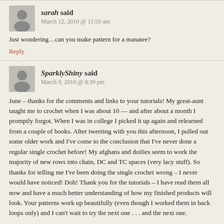sarah said
March 12, 2010 @ 11:50 am
Just wondering…can you make pattern for a manatee?
Reply
SparklyShiny said
March 9, 2010 @ 8:39 pm
June – thanks for the comments and links to your tutorials! My great-aunt taught me to crochet when I was about 10 — and after about a month I promptly forgot. When I was in college I picked it up again and relearned from a couple of books. After tweeting with you this afternoon, I pulled out some older work and I've come to the conclusion that I've never done a regular single crochet before! My afghans and doilies seem to work the majority of new rows into chain, DC and TC spaces (very lacy stuff). So thanks for telling me I've been doing the single crochet wrong – I never would have noticed! Doh! Thank you for the tutorials – I have read them all now and have a much better understanding of how my finished products will look. Your patterns work up beautifully (even though I worked them in back loops only) and I can't wait to try the next one . . . and the next one.